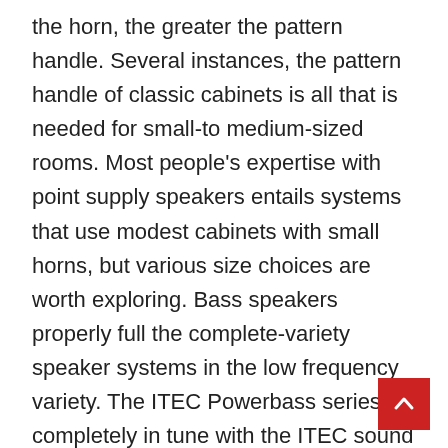the horn, the greater the pattern handle. Several instances, the pattern handle of classic cabinets is all that is needed for small-to medium-sized rooms. Most people's expertise with point supply speakers entails systems that use modest cabinets with small horns, but various size choices are worth exploring. Bass speakers properly full the complete-variety speaker systems in the low frequency variety. The ITEC Powerbass series is completely in tune with the ITEC sound columns and top components. All models have a water-resistant glued, bass reflex birch plywood housing with shock-resistant PU coating, a ballproof speaker cover, carry handles and a tripod mount. When it comes to sound, the Ultimate Ears BOOM 3...